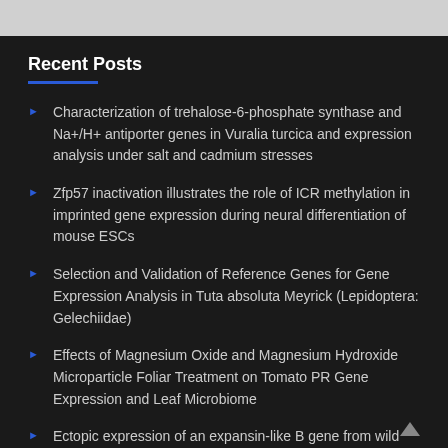Recent Posts
Characterization of trehalose-6-phosphate synthase and Na+/H+ antiporter genes in Vuralia turcica and expression analysis under salt and cadmium stresses
Zfp57 inactivation illustrates the role of ICR methylation in imprinted gene expression during neural differentiation of mouse ESCs
Selection and Validation of Reference Genes for Gene Expression Analysis in Tuta absoluta Meyrick (Lepidoptera: Gelechiidae)
Effects of Magnesium Oxide and Magnesium Hydroxide Microparticle Foliar Treatment on Tomato PR Gene Expression and Leaf Microbiome
Ectopic expression of an expansin-like B gene from wild Arabidopsis demonstrates the distinctive abiotic stress…